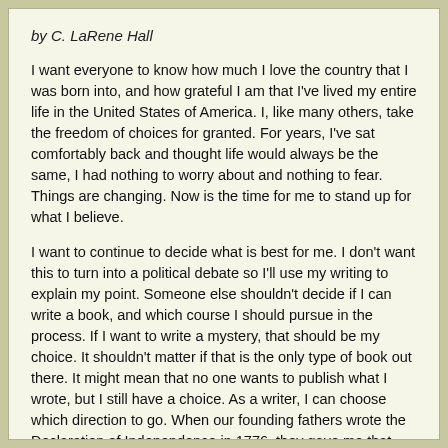by C. LaRene Hall
I want everyone to know how much I love the country that I was born into, and how grateful I am that I've lived my entire life in the United States of America. I, like many others, take the freedom of choices for granted. For years, I've sat comfortably back and thought life would always be the same, I had nothing to worry about and nothing to fear. Things are changing. Now is the time for me to stand up for what I believe.
I want to continue to decide what is best for me. I don't want this to turn into a political debate so I'll use my writing to explain my point. Someone else shouldn't decide if I can write a book, and which course I should pursue in the process. If I want to write a mystery, that should be my choice. It shouldn't matter if that is the only type of book out there. It might mean that no one wants to publish what I wrote, but I still have a choice. As a writer, I can choose which direction to go. When our founding fathers wrote the Declaration of Independence in 1776, they gave me that right.